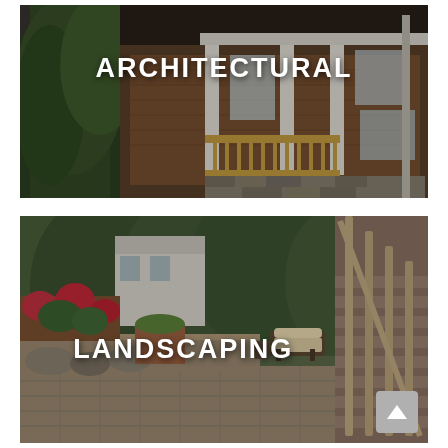[Figure (photo): Architectural photo of a craftsman-style house with cedar shake siding, white columns, wooden porch railing, stone foundation, and surrounding evergreen trees. White bold text overlay reads 'ARCHITECTURAL'.]
[Figure (photo): Landscaping photo showing a patio with lounge chairs, stone retaining walls, colorful flower beds, large trees, a staircase with wooden railing, and a paved walkway. White bold text overlay reads 'LANDSCAPING'. A gray scroll-to-top button with an upward arrow appears in the bottom right.]